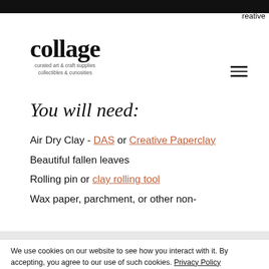e with
reative
[Figure (logo): Collage logo with text 'collage' in bold serif font and subtitle 'curated art & craft supplies collectibles & curiosities']
You will need:
Air Dry Clay - DAS or Creative Paperclay
Beautiful fallen leaves
Rolling pin or clay rolling tool
Wax paper, parchment, or other non-
We use cookies on our website to see how you interact with it. By accepting, you agree to our use of such cookies. Privacy Policy
Decline All
Accept
Settings